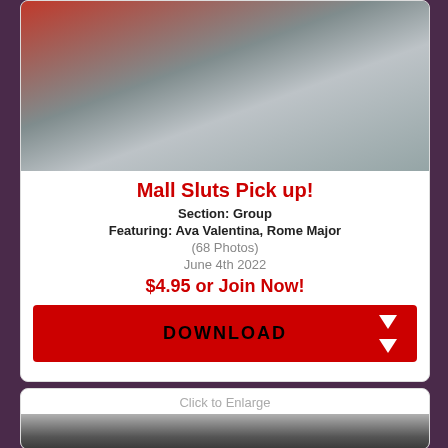[Figure (photo): Thumbnail photo of two women]
Mall Sluts Pick up!
Section: Group
Featuring: Ava Valentina, Rome Major
(68 Photos)
June 4th 2022
$4.95 or Join Now!
DOWNLOAD
Click to Enlarge
[Figure (photo): Second thumbnail photo, partially visible]